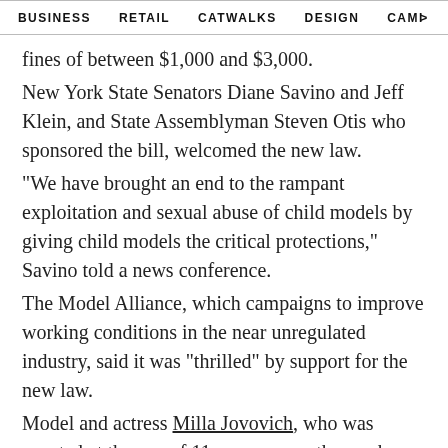BUSINESS   RETAIL   CATWALKS   DESIGN   CAMI  >
fines of between $1,000 and $3,000.
New York State Senators Diane Savino and Jeff Klein, and State Assemblyman Steven Otis who sponsored the bill, welcomed the new law.
"We have brought an end to the rampant exploitation and sexual abuse of child models by giving child models the critical protections," Savino told a news conference.
The Model Alliance, which campaigns to improve working conditions in the near unregulated industry, said it was "thrilled" by support for the new law.
Model and actress Milla Jovovich, who was scouted at the age of 11, was among those who spoke out.
"It seems incredible that young kids in the modeling industry haven't had equal rights to other child